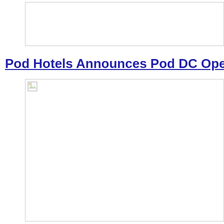[Figure (other): Top image placeholder box, image not loaded]
Pod Hotels Announces Pod DC Opening
[Figure (photo): Main image placeholder, image not loaded (broken image icon visible at top left of box)]